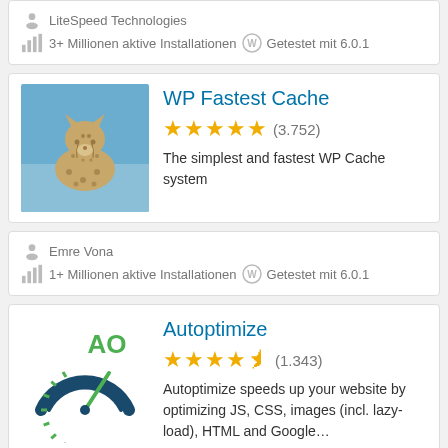LiteSpeed Technologies
3+ Millionen aktive Installationen   Getestet mit 6.0.1
[Figure (photo): Photo of a cheetah sitting against a blue sky background]
WP Fastest Cache
★★★★★ (3.752)
The simplest and fastest WP Cache system
Emre Vona
1+ Millionen aktive Installationen   Getestet mit 6.0.1
[Figure (logo): Autoptimize plugin logo: speedometer gauge with AO text in green]
Autoptimize
★★★★½ (1.343)
Autoptimize speeds up your website by optimizing JS, CSS, images (incl. lazy-load), HTML and Google…